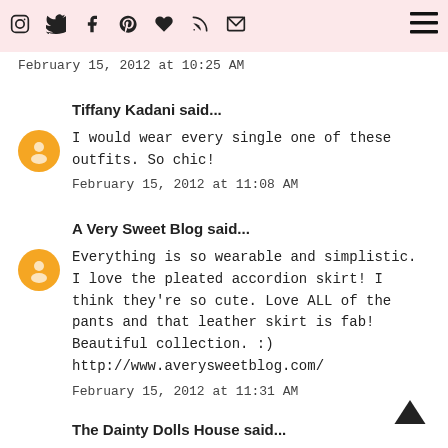Navigation bar with social icons and hamburger menu
February 15, 2012 at 10:25 AM
Tiffany Kadani said...
I would wear every single one of these outfits. So chic!
February 15, 2012 at 11:08 AM
A Very Sweet Blog said...
Everything is so wearable and simplistic. I love the pleated accordion skirt! I think they're so cute. Love ALL of the pants and that leather skirt is fab! Beautiful collection. :) http://www.averysweetblog.com/
February 15, 2012 at 11:31 AM
The Dainty Dolls House said...